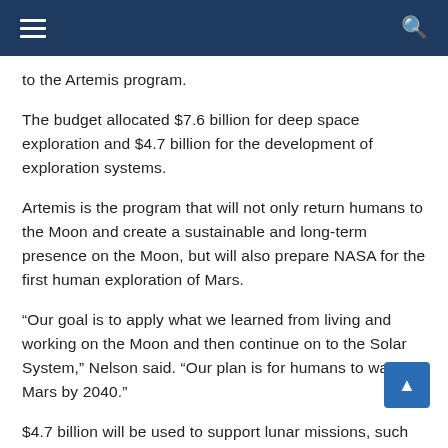navigation bar with hamburger menu and search icon
to the Artemis program.
The budget allocated $7.6 billion for deep space exploration and $4.7 billion for the development of exploration systems.
Artemis is the program that will not only return humans to the Moon and create a sustainable and long-term presence on the Moon, but will also prepare NASA for the first human exploration of Mars.
“Our goal is to apply what we learned from living and working on the Moon and then continue on to the Solar System,” Nelson said. “Our plan is for humans to walk on Mars by 2040.”
$4.7 billion will be used to support lunar missions, such as funding the Orion spacecraft and the Space Launch System rocket that will land astronauts on the Moon. $1.5 billion will be allocated to fund a new competition to develop sustainable lunar landers, which has been Announced last week by NASA